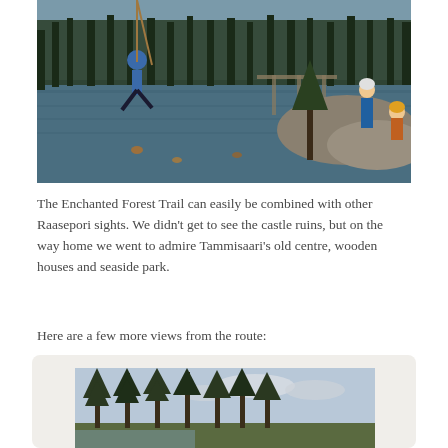[Figure (photo): Outdoor scene near a lake: a child in a blue jacket swinging on a rope over water, and two adults on rocky shoreline with pine trees and a dock in the background. Autumn colors visible.]
The Enchanted Forest Trail can easily be combined with other Raasepori sights. We didn't get to see the castle ruins, but on the way home we went to admire Tammisaari's old centre, wooden houses and seaside park.
Here are a few more views from the route:
[Figure (photo): Forest scene with tall pine trees against a pale cloudy sky, viewed from below looking upward, with a lake or water visible in the background through the trees.]